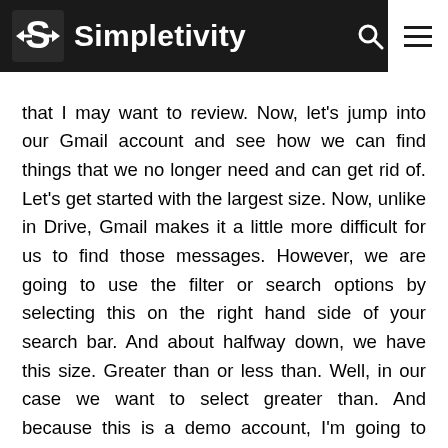Simpletivity
that I may want to review. Now, let's jump into our Gmail account and see how we can find things that we no longer need and can get rid of. Let's get started with the largest size. Now, unlike in Drive, Gmail makes it a little more difficult for us to find those messages. However, we are going to use the filter or search options by selecting this on the right hand side of your search bar. And about halfway down, we have this size. Greater than or less than. Well, in our case we want to select greater than. And because this is a demo account, I'm going to keep this relatively small. So I'm going to say anything over 100 kilobytes, but you may want to start with megabytes and work your way down depending on the results that you get. I'm not going to select any other date